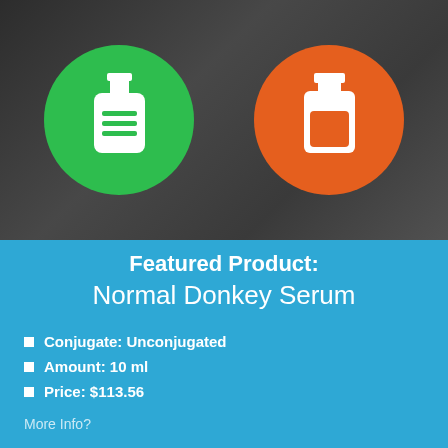[Figure (illustration): Dark background photo of a laboratory/storage setting with two circular icons overlaid: a green circle with a white bottle icon on the left, and an orange circle with a white vial/jar icon on the right.]
Featured Product:
Normal Donkey Serum
Conjugate: Unconjugated
Amount: 10 ml
Price: $113.56
More Info?